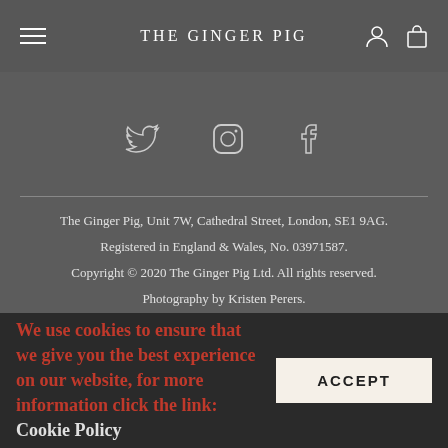THE GINGER PIG
[Figure (illustration): Social media icons: Twitter bird, Instagram camera circle, Facebook f]
The Ginger Pig, Unit 7W, Cathedral Street, London, SE1 9AG.
Registered in England & Wales, No. 03971587.
Copyright © 2020 The Ginger Pig Ltd. All rights reserved.
Photography by Kristen Perers.
Site by Propeller.
We use cookies to ensure that we give you the best experience on our website, for more information click the link: Cookie Policy